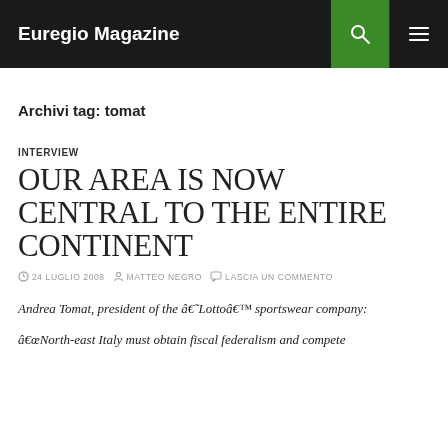Euregio Magazine
Archivi tag: tomat
INTERVIEW
OUR AREA IS NOW CENTRAL TO THE ENTIRE CONTINENT
24 LUGLIO 2008  MATTEO NEGRO  LASCIA UN COMMENTO
Andrea Tomat, president of the â€˜Lottoâ€™ sportswear company:
â€œNorth-east Italy must obtain fiscal federalism and compete